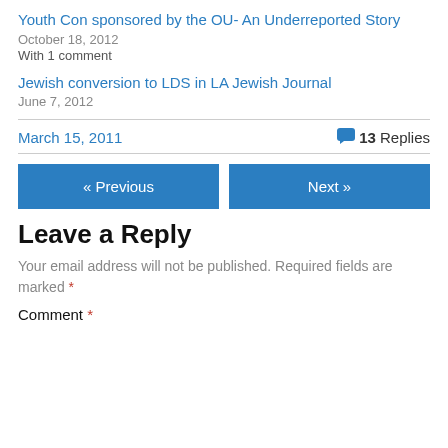Youth Con sponsored by the OU- An Underreported Story
October 18, 2012
With 1 comment
Jewish conversion to LDS in LA Jewish Journal
June 7, 2012
March 15, 2011
13 Replies
« Previous
Next »
Leave a Reply
Your email address will not be published. Required fields are marked *
Comment *